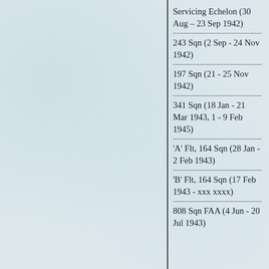|  | Servicing Echelon (30 Aug – 23 Sep 1942) |
|  | 243 Sqn (2 Sep - 24 Nov 1942) |
|  | 197 Sqn (21 - 25 Nov 1942) |
|  | 341 Sqn (18 Jan - 21 Mar 1943, 1 - 9 Feb 1945) |
|  | 'A' Flt, 164 Sqn (28 Jan - 2 Feb 1943) |
|  | 'B' Flt, 164 Sqn (17 Feb 1943 - xxx xxxx) |
|  | 808 Sqn FAA (4 Jun - 20 Jul 1943) |